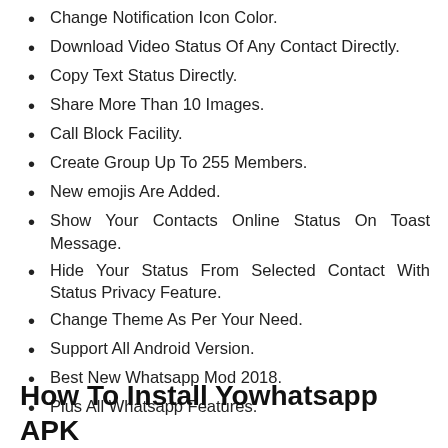Change Notification Icon Color.
Download Video Status Of Any Contact Directly.
Copy Text Status Directly.
Share More Than 10 Images.
Call Block Facility.
Create Group Up To 255 Members.
New emojis Are Added.
Show Your Contacts Online Status On Toast Message.
Hide Your Status From Selected Contact With Status Privacy Feature.
Change Theme As Per Your Need.
Support All Android Version.
Best New Whatsapp Mod 2018.
Plus All Whatsapp Features.
How To Install Yowhatsapp APK